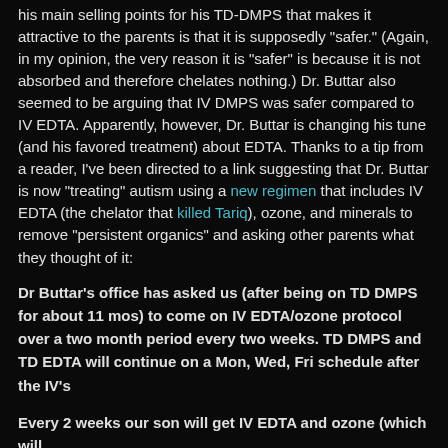his main selling points for his TD-DMPS that makes it attractive to the parents is that it is supposedly "safer." (Again, in my opinion, the very reason it is "safer" is because it is not absorbed and therefore chelates nothing.) Dr. Buttar also seemed to be arguing that IV DMPS was safer compared to IV EDTA. Apparently, however, Dr. Buttar is changing his tune (and his favored treatment) about EDTA. Thanks to a tip from a reader, I've been directed to a link suggesting that Dr. Buttar is now "treating" autism using a new regimen that includes IV EDTA (the chelator that killed Tariq), ozone, and minerals to remove "persistent organics" and asking other parents what they thought of it:
Dr Buttar's office has asked us (after being on TD DMPS for about 11 mos) to come on IV EDTA/ozone protocol over a two month period every two weeks. TD DMPS and TD EDTA will continue on a Mon, Wed, Fri schedule after the IV's
Every 2 weeks our son will get IV EDTA and ozone (which will